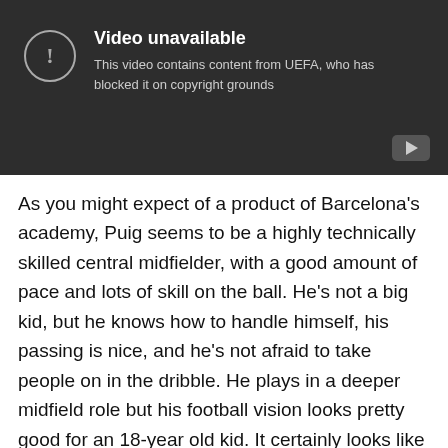[Figure (screenshot): YouTube video unavailable message on dark background. Shows warning icon (circle with exclamation mark), title 'Video unavailable', subtitle 'This video contains content from UEFA, who has blocked it on copyright grounds', and YouTube play button icon in bottom right corner.]
As you might expect of a product of Barcelona's academy, Puig seems to be a highly technically skilled central midfielder, with a good amount of pace and lots of skill on the ball. He's not a big kid, but he knows how to handle himself, his passing is nice, and he's not afraid to take people on in the dribble. He plays in a deeper midfield role but his football vision looks pretty good for an 18-year old kid. It certainly looks like he has the right tools in the toolbox to be a really, really good footballer.